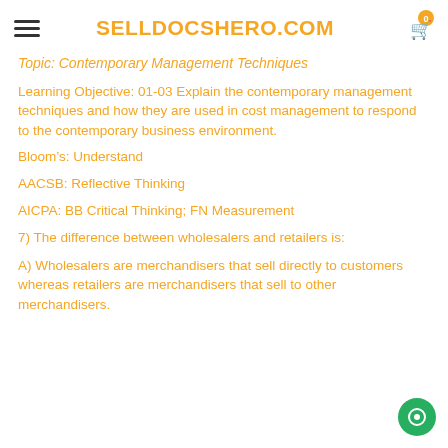SELLDOCSHERO.COM
Topic: Contemporary Management Techniques
Learning Objective: 01-03 Explain the contemporary management techniques and how they are used in cost management to respond to the contemporary business environment.
Bloom’s: Understand
AACSB: Reflective Thinking
AICPA: BB Critical Thinking; FN Measurement
7) The difference between wholesalers and retailers is:
A) Wholesalers are merchandisers that sell directly to customers whereas retailers are merchandisers that sell to other merchandisers.